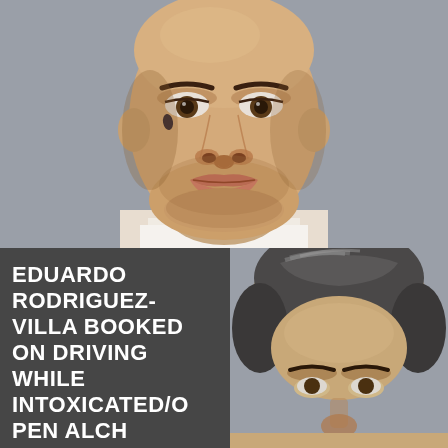[Figure (photo): Mugshot photo of a young Hispanic male, close-up of face, gray background. Subject has a teardrop tattoo under left eye and neck tattoos, wearing white shirt.]
EDUARDO RODRIGUEZ-VILLA BOOKED ON DRIVING WHILE INTOXICATED/O PEN ALCH
[Figure (photo): Mugshot photo of a middle-aged Hispanic male, close-up of top of head and forehead, gray background. Subject has dark gray hair.]